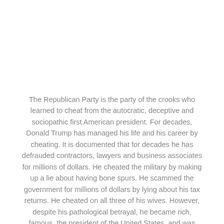The Republican Party is the party of the crooks who learned to cheat from the autocratic, deceptive and sociopathic first American president. For decades, Donald Trump has managed his life and his career by cheating. It is documented that for decades he has defrauded contractors, lawyers and business associates for millions of dollars. He cheated the military by making up a lie about having bone spurs. He scammed the government for millions of dollars by lying about his tax returns. He cheated on all three of his wives. However, despite his pathological betrayal, he became rich, famous, the president of the United States, and was never listed for crimes he committed in plain sight. The power-hungry GOP has embraced